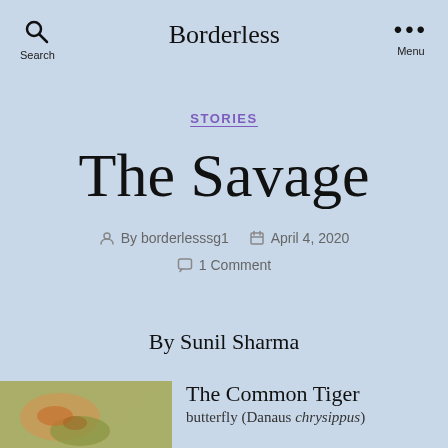Borderless
STORIES
The Savage
By borderlesssg1   April 4, 2020   1 Comment
By Sunil Sharma
The Common Tiger
[Figure (photo): Close-up photograph of a butterfly or insect on green foliage]